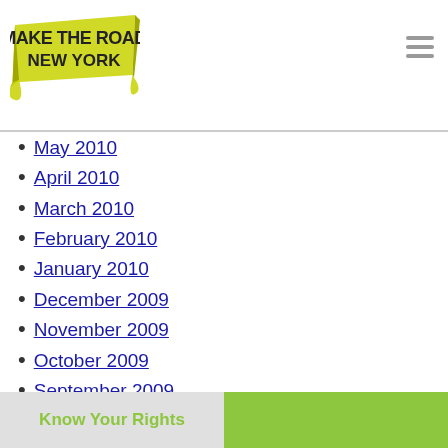Make The Road New York
May 2010
April 2010
March 2010
February 2010
January 2010
December 2009
November 2009
October 2009
September 2009
August 2009
July 2009
June 2009
May 2009
April 2009
March 2009
February 2009
January 2009
December 2008
Know Your Rights